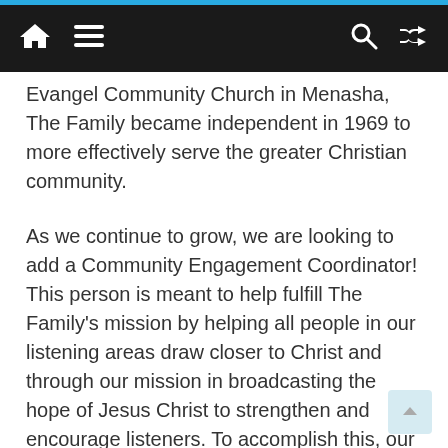[Navigation bar with home, menu, search, and shuffle icons]
Evangel Community Church in Menasha, The Family became independent in 1969 to more effectively serve the greater Christian community.
As we continue to grow, we are looking to add a Community Engagement Coordinator! This person is meant to help fulfill The Family's mission by helping all people in our listening areas draw closer to Christ and through our mission in broadcasting the hope of Jesus Christ to strengthen and encourage listeners. To accomplish this, our Community Engagement team, is active in the communities we serve through station events, promotion, contests, community outreach initiatives, and in finding events for the station to